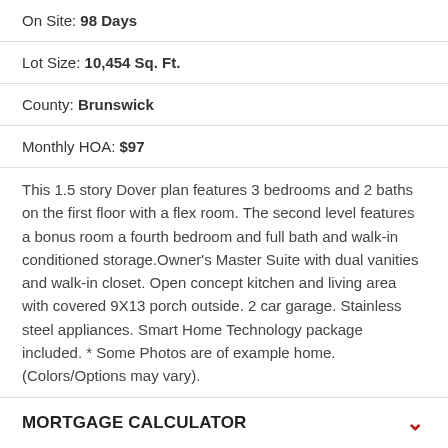On Site: 98 Days
Lot Size: 10,454 Sq. Ft.
County: Brunswick
Monthly HOA: $97
This 1.5 story Dover plan features 3 bedrooms and 2 baths on the first floor with a flex room. The second level features a bonus room a fourth bedroom and full bath and walk-in conditioned storage.Owner's Master Suite with dual vanities and walk-in closet. Open concept kitchen and living area with covered 9X13 porch outside. 2 car garage. Stainless steel appliances. Smart Home Technology package included. * Some Photos are of example home. (Colors/Options may vary).
MORTGAGE CALCULATOR